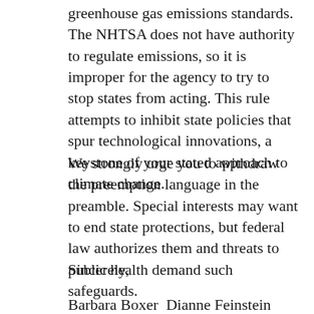greenhouse gas emissions standards. The NHTSA does not have authority to regulate emissions, so it is improper for the agency to try to stop states from acting. This rule attempts to inhibit state policies that spur technological innovations, a keystone of your stated approach to climate change.
We strongly urge you to withdraw the preemption language in the preamble. Special interests may want to end state protections, but federal law authorizes them and threats to public health demand such safeguards.
Sincerely,
Barbara Boxer  Dianne Feinstein